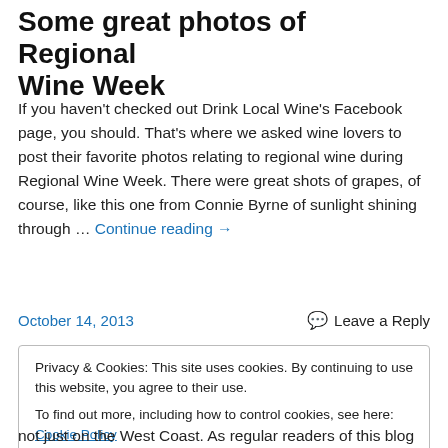Some great photos of Regional Wine Week
If you haven't checked out Drink Local Wine's Facebook page, you should. That's where we asked wine lovers to post their favorite photos relating to regional wine during Regional Wine Week. There were great shots of grapes, of course, like this one from Connie Byrne of sunlight shining through … Continue reading →
October 14, 2013    💬 Leave a Reply
Privacy & Cookies: This site uses cookies. By continuing to use this website, you agree to their use.
To find out more, including how to control cookies, see here: Cookie Policy
[Close and accept]
not just on the West Coast. As regular readers of this blog